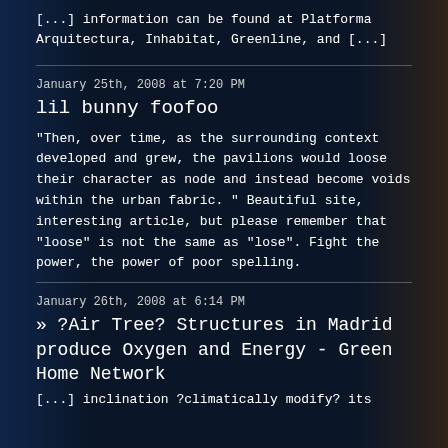[...] information can be found at Platforma Arquitectura, Inhabitat, Greenline, and [...]
January 25th, 2008 at 7:20 PM
lil bunny foofoo
"Then, over time, as the surrounding context developed and grew, the pavilions would loose their character as node and instead become voids within the urban fabric. " Beautiful site, interesting article, but please remember that "loose" is not the same as "lose". Fight the power, the power of poor spelling.
January 26th, 2008 at 6:14 PM
» ?Air Tree? Structures in Madrid produce Oxygen and Energy - Green Home Network
[...] inclination ?climatically modify? its